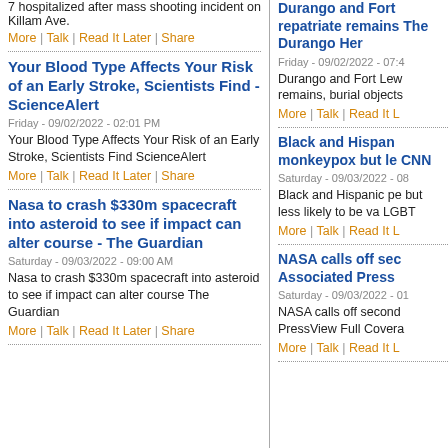7 hospitalized after mass shooting incident on Killam Ave.
More | Talk | Read It Later | Share
Your Blood Type Affects Your Risk of an Early Stroke, Scientists Find - ScienceAlert
Friday - 09/02/2022 - 02:01 PM
Your Blood Type Affects Your Risk of an Early Stroke, Scientists Find ScienceAlert
More | Talk | Read It Later | Share
Nasa to crash $330m spacecraft into asteroid to see if impact can alter course - The Guardian
Saturday - 09/03/2022 - 09:00 AM
Nasa to crash $330m spacecraft into asteroid to see if impact can alter course The Guardian
More | Talk | Read It Later | Share
Durango and Fort Lewis College repatriate remains - The Durango Her
Friday - 09/02/2022 - 07:4
Durango and Fort Lew remains, burial objects
More | Talk | Read It L
Black and Hispanic monkeypox but le CNN
Saturday - 09/03/2022 - 08
Black and Hispanic pe but less likely to be va LGBT
More | Talk | Read It L
NASA calls off sec Associated Press
Saturday - 09/03/2022 - 01
NASA calls off second PressView Full Covera
More | Talk | Read It L